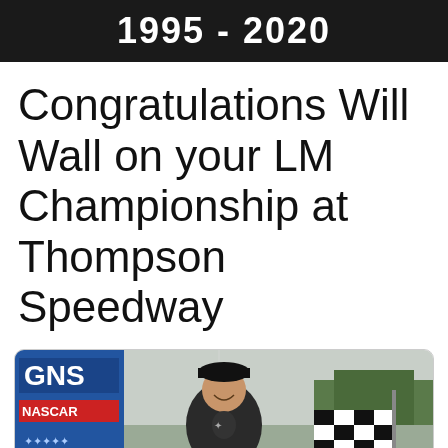1995 - 2020
Congratulations Will Wall on your LM Championship at Thompson Speedway
[Figure (photo): Man in racing attire smiling and holding a checkered flag at Thompson Speedway, with NASCAR GNS banner visible in background, outdoor racing event setting with overcast sky and trees]